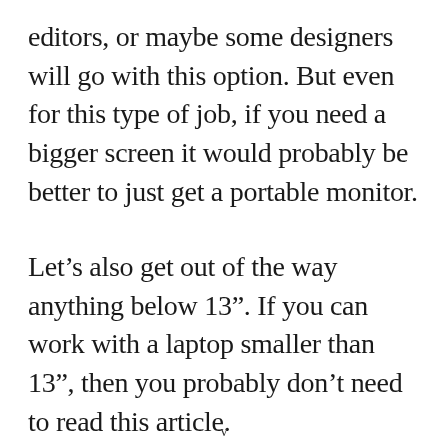editors, or maybe some designers will go with this option. But even for this type of job, if you need a bigger screen it would probably be better to just get a portable monitor.
Let's also get out of the way anything below 13". If you can work with a laptop smaller than 13", then you probably don't need to read this article.
v